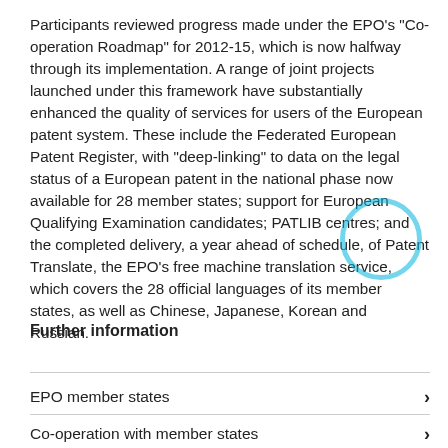Participants reviewed progress made under the EPO's "Co-operation Roadmap" for 2012-15, which is now halfway through its implementation. A range of joint projects launched under this framework have substantially enhanced the quality of services for users of the European patent system. These include the Federated European Patent Register, with "deep-linking" to data on the legal status of a European patent in the national phase now available for 28 member states; support for European Qualifying Examination candidates; PATLIB centres; and the completed delivery, a year ahead of schedule, of Patent Translate, the EPO's free machine translation service, which covers the 28 official languages of its member states, as well as Chinese, Japanese, Korean and Russian.
Further information
EPO member states
Co-operation with member states